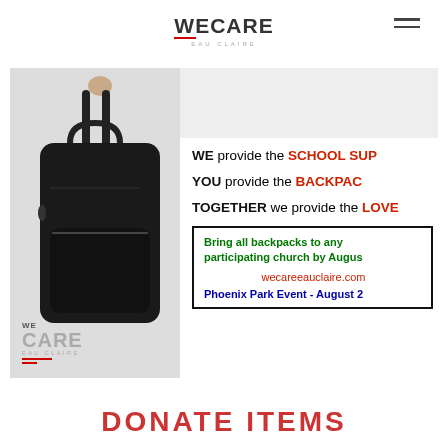WECARE EAU CLAIRE
[Figure (infographic): Infographic showing a backpack image on the left and text on the right. Text reads: WE provide the SCHOOL SU(PPLIES), YOU provide the BACKPA(CK), TOGETHER we provide the LOVE. A bordered box states: Bring all backpacks to any participating church by Augus(t). wecareeauclaire.com. Phoenix Park Event - August 2(2?). WE CARE EAU CLAIRE logo at bottom left.]
DONATE ITEMS